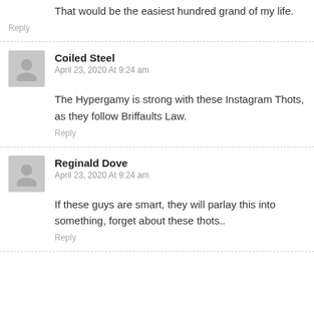That would be the easiest hundred grand of my life.
Reply
Coiled Steel
April 23, 2020 At 9:24 am
The Hypergamy is strong with these Instagram Thots, as they follow Briffaults Law.
Reply
Reginald Dove
April 23, 2020 At 9:24 am
If these guys are smart, they will parlay this into something, forget about these thots..
Reply